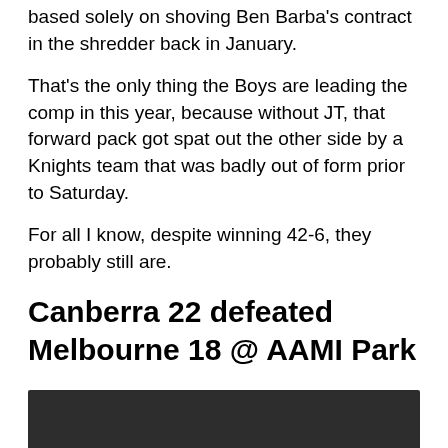based solely on shoving Ben Barba's contract in the shredder back in January.
That's the only thing the Boys are leading the comp in this year, because without JT, that forward pack got spat out the other side by a Knights team that was badly out of form prior to Saturday.
For all I know, despite winning 42-6, they probably still are.
Canberra 22 defeated Melbourne 18 @ AAMI Park
[Figure (photo): Dark/black rectangular image at the bottom of the page]